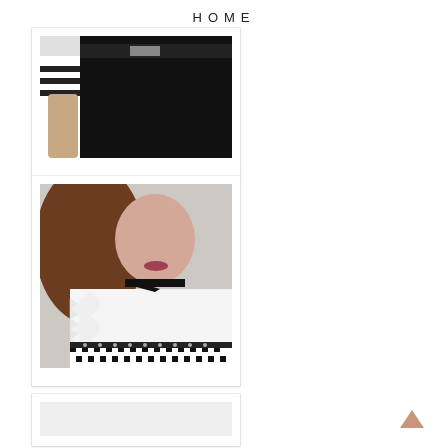HOME
[Figure (photo): Fashion photo showing person wearing black leather pants and striped top, cropped at waist]
[Figure (photo): Fashion photo showing woman with long brown hair wearing white ruffled blouse with black collar and black and white houndstooth skirt]
[Figure (photo): Partial fashion photo, cropped, white background visible]
[Figure (illustration): Back-to-top arrow button, pink/salmon color, pointing upward, bottom right corner]